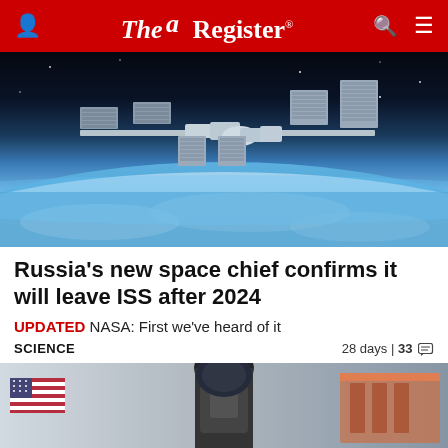The Register
[Figure (photo): International Space Station photographed against Earth's curvature from space, showing solar panels and modules]
Russia's new space chief confirms it will leave ISS after 2024
UPDATED NASA: First we've heard of it
SCIENCE   28 days | 33 comments
[Figure (photo): Astronaut in spacesuit with American flag visible and rocket or capsule structure in background]